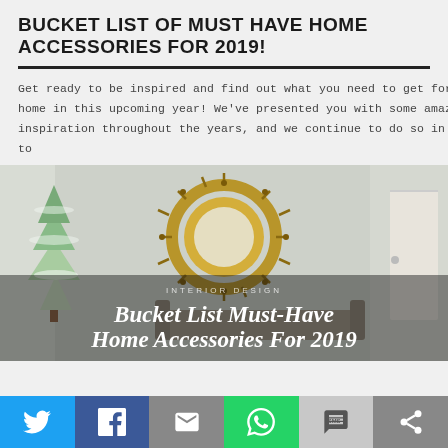BUCKET LIST OF MUST HAVE HOME ACCESSORIES FOR 2019!
Get ready to be inspired and find out what you need to get for your home in this upcoming year! We've presented you with some amazing inspiration throughout the years, and we continue to do so in attempts to
[Figure (photo): Interior room photo with a decorated Christmas tree, a gold sunburst mirror, and overlay text reading 'INTERIOR DESIGN' and 'Bucket List Must-Have Home Accessories For 2019' in white italic script]
Twitter | Facebook | Email | WhatsApp | SMS | Share social buttons